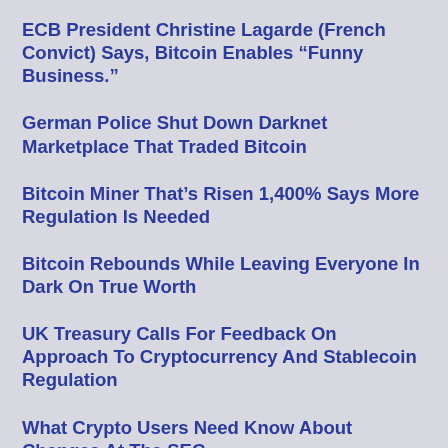ECB President Christine Lagarde (French Convict) Says, Bitcoin Enables “Funny Business.”
German Police Shut Down Darknet Marketplace That Traded Bitcoin
Bitcoin Miner That’s Risen 1,400% Says More Regulation Is Needed
Bitcoin Rebounds While Leaving Everyone In Dark On True Worth
UK Treasury Calls For Feedback On Approach To Cryptocurrency And Stablecoin Regulation
What Crypto Users Need Know About Changes At The SEC
Where Does This 28% Bitcoin Price Drop Rank In History? Not Even In The Top F…